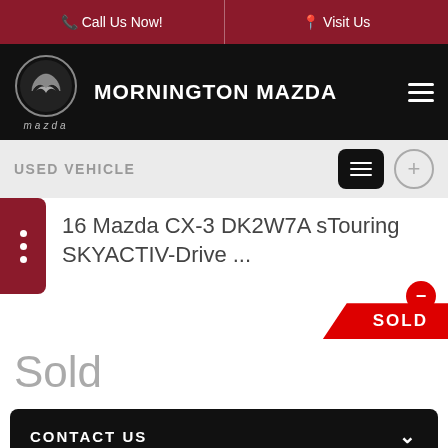Call Us Now! | Visit Us
MORNINGTON MAZDA
USED VEHICLE
16 Mazda CX-3 DK2W7A sTouring SKYACTIV-Drive ...
Sold
CONTACT US
FINANCE THIS VEHICLE